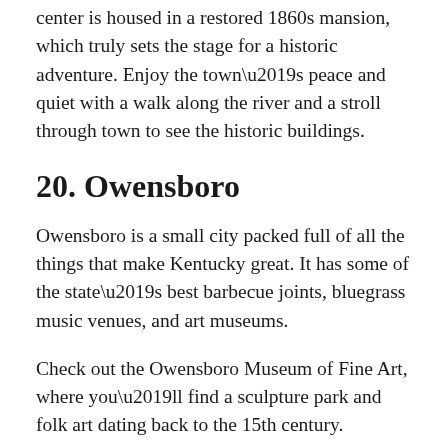center is housed in a restored 1860s mansion, which truly sets the stage for a historic adventure. Enjoy the town’s peace and quiet with a walk along the river and a stroll through town to see the historic buildings.
20. Owensboro
Owensboro is a small city packed full of all the things that make Kentucky great. It has some of the state’s best barbecue joints, bluegrass music venues, and art museums.
Check out the Owensboro Museum of Fine Art, where you’ll find a sculpture park and folk art dating back to the 15th century.
Owensboro is famous for its mutton barbeque, so if you’re a meat eater you shouldn’t leave town without